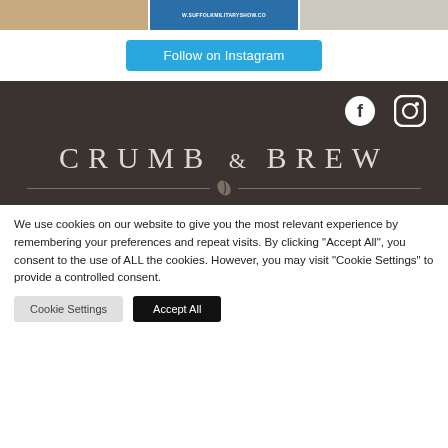[Figure (photo): Three thumbnail images in a row at the top: a sandy/tan colored image on the left, a blue image with text 'W.SUFFOLKMILITARYSHOW.CO' in the middle, and a light gray/beige image on the right.]
Follow on Instagram
[Figure (logo): CRUMB & BREW logo on dark brown background with social media icons (Facebook and Instagram) and decorative divider with coffee bean icon.]
We use cookies on our website to give you the most relevant experience by remembering your preferences and repeat visits. By clicking "Accept All", you consent to the use of ALL the cookies. However, you may visit "Cookie Settings" to provide a controlled consent.
Cookie Settings
Accept All